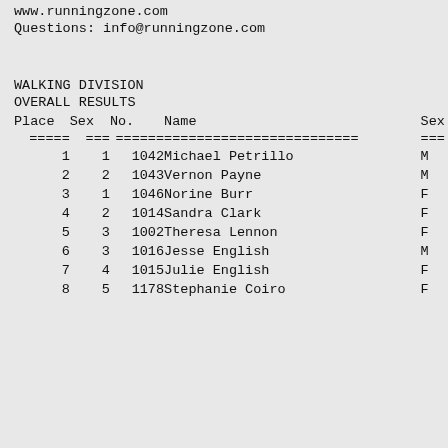www.runningzone.com
Questions: info@runningzone.com
WALKING DIVISION
OVERALL RESULTS
| Place | Sex | No. | Name | Sex |
| --- | --- | --- | --- | --- |
| 1 | 1 | 1042 | Michael Petrillo | M |
| 2 | 2 | 1043 | Vernon Payne | M |
| 3 | 1 | 1046 | Norine Burr | F |
| 4 | 2 | 1014 | Sandra Clark | F |
| 5 | 3 | 1002 | Theresa Lennon | F |
| 6 | 3 | 1016 | Jesse English | M |
| 7 | 4 | 1015 | Julie English | F |
| 8 | 5 | 1178 | Stephanie Coiro | F |